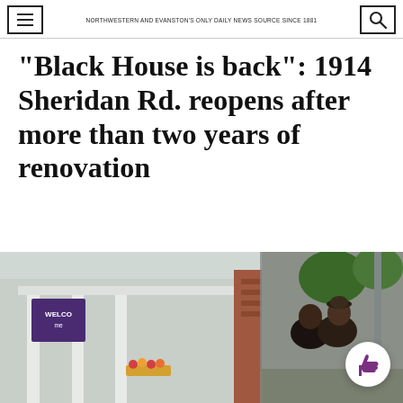NORTHWESTERN AND EVANSTON'S ONLY DAILY NEWS SOURCE SINCE 1881
“Black House is back”: 1914 Sheridan Rd. reopens after more than two years of renovation
[Figure (photo): Photo of people gathered outside 1914 Sheridan Rd. (Black House), with a purple WELCOME banner visible on the porch. Two people are seen embracing on the right side, with trees and a brick building in the background.]